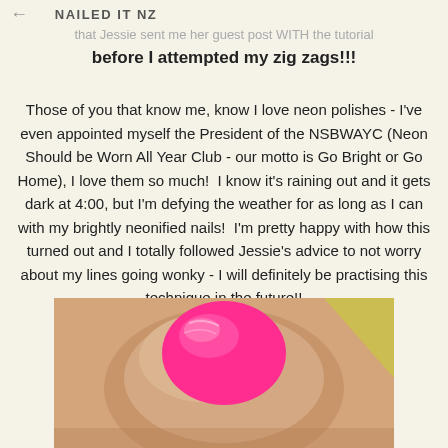NAILED IT NZ
that Jessie sent me her guest post WITH the tutorial before I attempted my zig zags!!!
Those of you that know me, know I love neon polishes - I've even appointed myself the President of the NSBWAYC (Neon Should be Worn All Year Club - our motto is Go Bright or Go Home), I love them so much!  I know it's raining out and it gets dark at 4:00, but I'm defying the weather for as long as I can with my brightly neonified nails!  I'm pretty happy with how this turned out and I totally followed Jessie's advice to not worry about my lines going wonky - I will definitely be practising this technique in the future!!
[Figure (photo): Close-up photo of a finger with bright neon pink/hot pink nail polish]